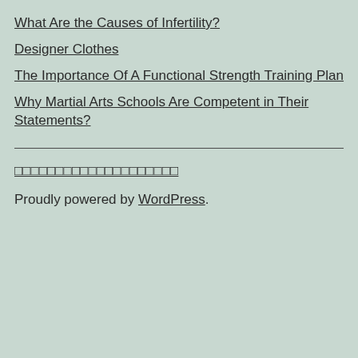What Are the Causes of Infertility?
Designer Clothes
The Importance Of A Functional Strength Training Plan
Why Martial Arts Schools Are Competent in Their Statements?
□□□□□□□□□□□□□□□□□□□□
Proudly powered by WordPress.